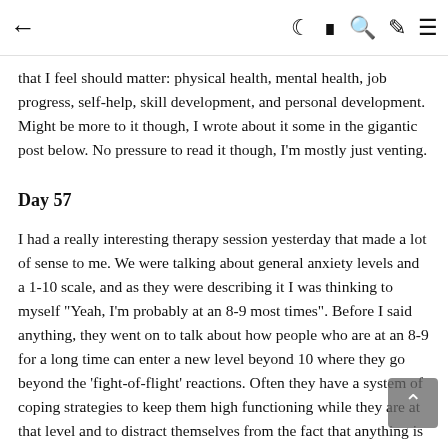← (navigation icons: moon, grid, search, brush, menu)
that I feel should matter: physical health, mental health, job progress, self-help, skill development, and personal development. Might be more to it though, I wrote about it some in the gigantic post below. No pressure to read it though, I'm mostly just venting.
Day 57
I had a really interesting therapy session yesterday that made a lot of sense to me. We were talking about general anxiety levels and a 1-10 scale, and as they were describing it I was thinking to myself "Yeah, I'm probably at an 8-9 most times". Before I said anything, they went on to talk about how people who are at an 8-9 for a long time can enter a new level beyond 10 where they go beyond the 'fight-of-flight' reactions. Often they have a system of coping strategies to keep them high functioning while they are at that level and to distract themselves from the fact that anything is wrong. To come back down, however, they have to go back through the stages of high anxiety where the fight- or